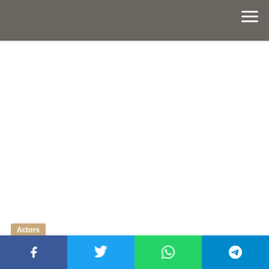[Figure (other): Advertisement / blank white area below header]
Actors
Bryan Baeumler's Bio: House,
[Figure (other): Social share bar with Facebook, Twitter, WhatsApp, Telegram buttons]